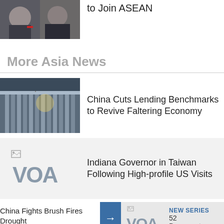[Figure (photo): Two men in suits shaking hands, partial view at top of page]
to Join ASEAN
More Asia News
[Figure (photo): Chinese government building with red flag, Peoples Bank of China]
China Cuts Lending Benchmarks to Revive Faltering Economy
[Figure (logo): VOA Voice of America logo on light gray background]
Indiana Governor in Taiwan Following High-profile US Visits
China Fights Brush Fires Drought
[Figure (logo): VOA Voice of America logo small]
NEW SERIES
52 Documentary
Philippines Ch...